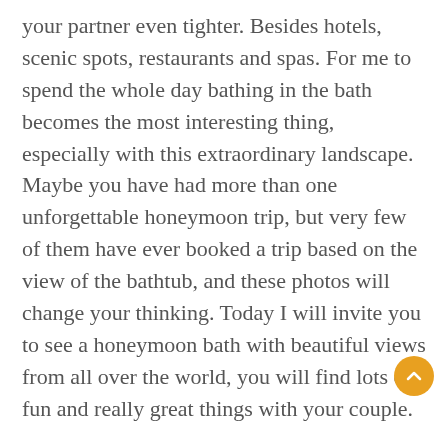your partner even tighter. Besides hotels, scenic spots, restaurants and spas. For me to spend the whole day bathing in the bath becomes the most interesting thing, especially with this extraordinary landscape. Maybe you have had more than one unforgettable honeymoon trip, but very few of them have ever booked a trip based on the view of the bathtub, and these photos will change your thinking. Today I will invite you to see a honeymoon bath with beautiful views from all over the world, you will find lots of fun and really great things with your couple.
If you think this is too expensive, try to be inspired and you can have one at home. I believe honeymoon does not have to go far, especially if you are currently experiencing financial difficulties. Luckily for you, you don't have to go to these places because there is now a lot of inspiration on the internet that can be used as a reference for your bathtub, especially now that many properties offer luxurious bathrooms or even better. And if this truly